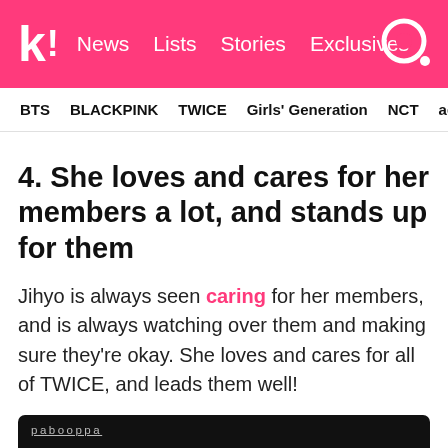k! News Lists Stories Exclusives
BTS BLACKPINK TWICE Girls' Generation NCT aespa
4. She loves and cares for her members a lot, and stands up for them
Jihyo is always seen caring for her members, and is always watching over them and making sure they're okay. She loves and cares for all of TWICE, and leads them well!
[Figure (photo): Dark background image with pink and white flowers, watermark 'pabooppa' in bottom-left area]